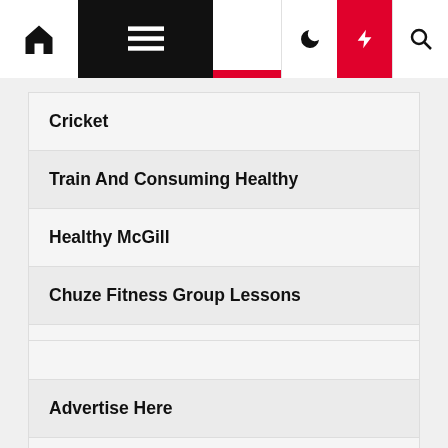Navigation bar with home, menu, dark mode, lightning/flash, and search icons
Cricket
Train And Consuming Healthy
Healthy McGill
Chuze Fitness Group Lessons
Pure Pet Store Inspiring Healthy Pet Life
Advertise Here
Disclosure Policy
contact us